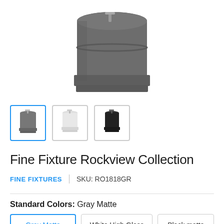[Figure (photo): Gray matte pedestal sink/basin product photo, viewed from above at angle, showing cylindrical dark gray form with faucet on top]
[Figure (photo): Three product thumbnail images: first selected (gray matte pedestal sink with blue border), second (white high gloss pedestal sink), third (black matte pedestal sink)]
Fine Fixture Rockview Collection
FINE FIXTURES  |  SKU: RO1818GR
Standard Colors:  Gray Matte
Gray Matte  |  White High Gloss  |  Black matte